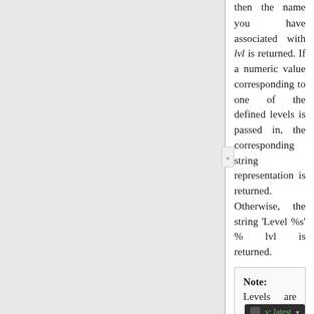then the name you have associated with lvl is returned. If a numeric value corresponding to one of the defined levels is passed in, the corresponding string representation is returned. Otherwise, the string 'Level %s' % lvl is returned.
Note: Levels are [v: latest] integers (as they need to be compared in the